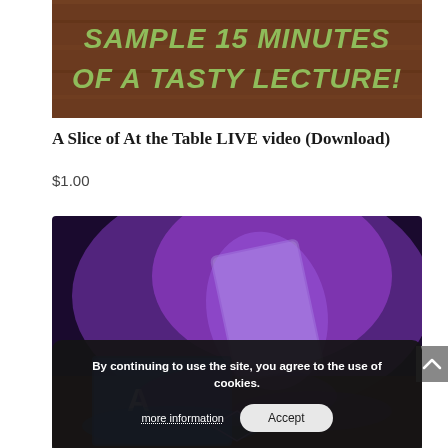[Figure (photo): Promotional banner with brown wood background and green italic text reading 'SAMPLE 15 MINUTES OF A TASTY LECTURE!']
A Slice of At the Table LIVE video (Download)
$1.00
[Figure (photo): Close-up photo of playing cards glowing with purple/blue neon light on a dark surface, with a scroll-to-top button visible on the right edge]
By continuing to use the site, you agree to the use of cookies.
more information   Accept